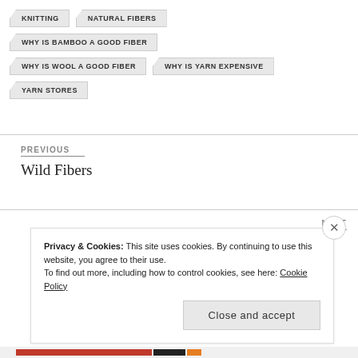KNITTING
NATURAL FIBERS
WHY IS BAMBOO A GOOD FIBER
WHY IS WOOL A GOOD FIBER
WHY IS YARN EXPENSIVE
YARN STORES
PREVIOUS
Wild Fibers
NEXT
Privacy & Cookies: This site uses cookies. By continuing to use this website, you agree to their use.
To find out more, including how to control cookies, see here: Cookie Policy
Close and accept